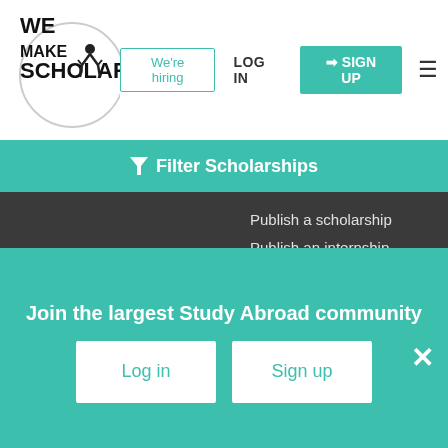[Figure (logo): WeMakeScholars logo with text WE MAKE SCHOLARS and a figure silhouette inside a circle]
We're hiring
LOG IN
SIGN UP
Filter Scholarships
Publish a scholarship
Publish an internship
ScholarMag Magazine
International Campus Delegate Program
Report a error
WeMakeScholars
WeMakeScholars is a Not-just-for-Profit organization and India's
Join the largest Study Abroad community
Log in
Sign up